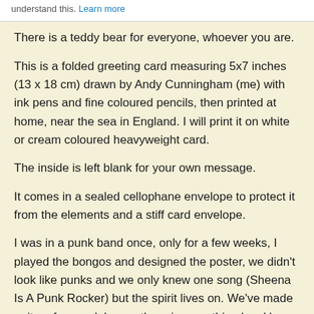understand this. Learn more
There is a teddy bear for everyone, whoever you are.
This is a folded greeting card measuring 5x7 inches (13 x 18 cm) drawn by Andy Cunningham (me) with ink pens and fine coloured pencils, then printed at home, near the sea in England. I will print it on white or cream coloured heavyweight card.
The inside is left blank for your own message.
It comes in a sealed cellophane envelope to protect it from the elements and a stiff card envelope.
I was in a punk band once, only for a few weeks, I played the bongos and designed the poster, we didn't look like punks and we only knew one song (Sheena Is A Punk Rocker) but the spirit lives on. We've made quite a few punk bears, there is something 'punk' about a bear, the attitude, the snarling and